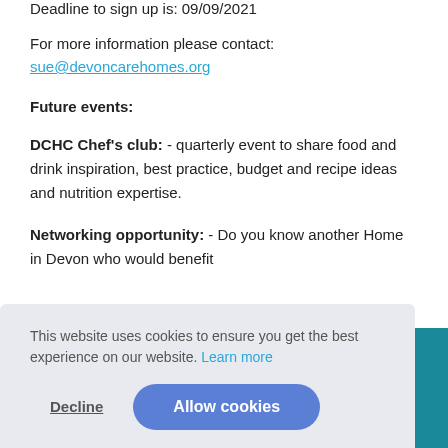Deadline to sign up is: 09/09/2021
For more information please contact:
sue@devoncarehomes.org
Future events:
DCHC Chef’s club: - quarterly event to share food and drink inspiration, best practice, budget and recipe ideas and nutrition expertise.
Networking opportunity: - Do you know another Home in Devon who would benefit
This website uses cookies to ensure you get the best experience on our website. Learn more
Decline
Allow cookies